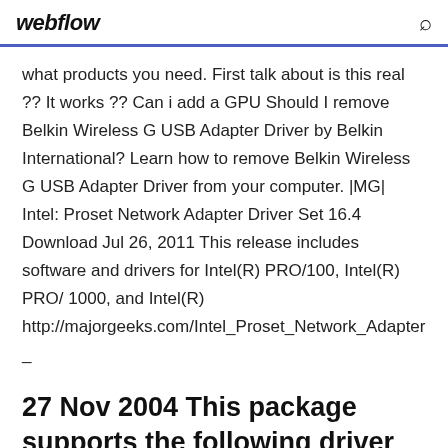webflow
what products you need. First talk about is this real ?? It works ?? Can i add a GPU Should I remove Belkin Wireless G USB Adapter Driver by Belkin International? Learn how to remove Belkin Wireless G USB Adapter Driver from your computer. |MG| Intel: Proset Network Adapter Driver Set 16.4 Download Jul 26, 2011 This release includes software and drivers for Intel(R) PRO/100, Intel(R) PRO/ 1000, and Intel(R)
http://majorgeeks.com/Intel_Proset_Network_Adapter_
27 Nov 2004 This package supports the following driver